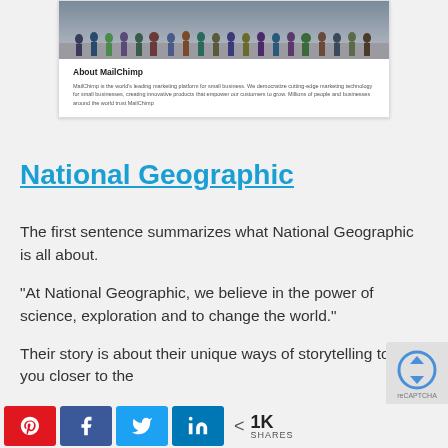[Figure (screenshot): Screenshot of a MailChimp webpage card showing a photo of people at the top and an 'About MailChimp' section below with body text describing MailChimp as the world's leading marketing platform for small businesses.]
National Geographic
The first sentence summarizes what National Geographic is all about.
“At National Geographic, we believe in the power of science, exploration and to change the world.”
Their story is about their unique ways of storytelling to get you closer to the
[Figure (screenshot): Social share bar with Pinterest, Facebook, Twitter, LinkedIn buttons and a share count of 1K SHARES, plus a partial reCAPTCHA widget in the bottom right corner.]